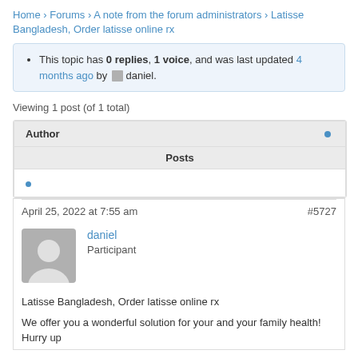Home › Forums › A note from the forum administrators › Latisse Bangladesh, Order latisse online rx
This topic has 0 replies, 1 voice, and was last updated 4 months ago by daniel.
Viewing 1 post (of 1 total)
| Author |  | Posts |
| --- | --- | --- |
| • |  |  |
April 25, 2022 at 7:55 am    #5727
daniel
Participant
Latisse Bangladesh, Order latisse online rx
We offer you a wonderful solution for your and your family health! Hurry up